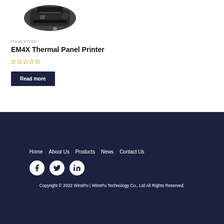[Figure (photo): Thermal panel printer product image (EM4X) shown partially at top]
Panel Printer
EM4X Thermal Panel Printer
[Figure (other): 5-star rating display with empty/outline stars]
Read more
Home  About Us  Products  News  Contact Us
Copyright © 2022 WinsPu | WinsPu Technology Co., Ltd All Rights Reserved.